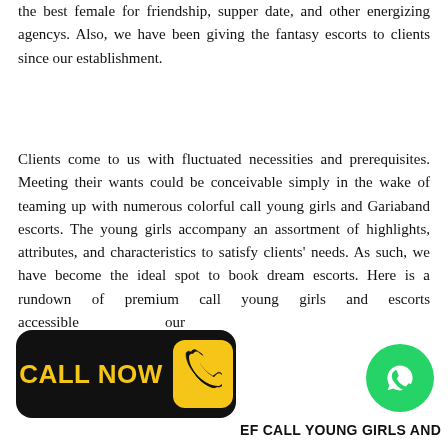the best female for friendship, supper date, and other energizing agencys. Also, we have been giving the fantasy escorts to clients since our establishment.
Clients come to us with fluctuated necessities and prerequisites. Meeting their wants could be conceivable simply in the wake of teaming up with numerous colorful call young girls and Gariaband escorts. The young girls accompany an assortment of highlights, attributes, and characteristics to satisfy clients' needs. As such, we have become the ideal spot to book dream escorts. Here is a rundown of premium call young girls and escorts accessible our
[Figure (other): CALL NOW button with phone icon (black background, yellow text and icon)]
[Figure (other): WhatsApp green circle button with phone icon]
EF CALL YOUNG GIRLS AND